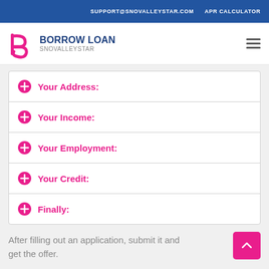SUPPORT@SNOVALLEYSTAR.COM   APR CALCULATOR
[Figure (logo): Borrow Loan SnoValleyStar logo with pink stylized 'b' icon and blue bold text 'BORROW LOAN' with gray 'SNOVALLEYSTAR' below]
Your Address:
Your Income:
Your Employment:
Your Credit:
Finally:
After filling out an application, submit it and get the offer.